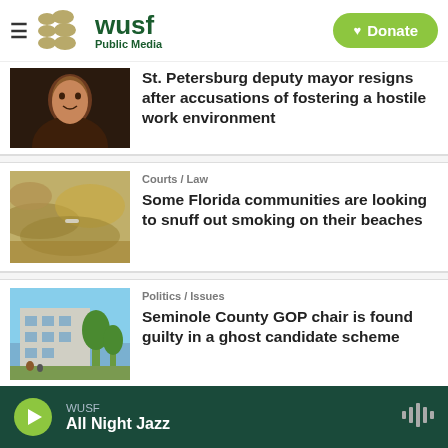WUSF Public Media — Donate
[Figure (photo): Photo of a smiling woman]
St. Petersburg deputy mayor resigns after accusations of fostering a hostile work environment
[Figure (photo): Close-up photo of sand on a beach]
Courts / Law
Some Florida communities are looking to snuff out smoking on their beaches
[Figure (photo): Photo of a government building exterior]
Politics / Issues
Seminole County GOP chair is found guilty in a ghost candidate scheme
WUSF — All Night Jazz